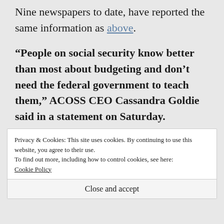Nine newspapers to date, have reported the same information as above.
“People on social security know better than most about budgeting and don’t need the federal government to teach them,” ACOSS CEO Cassandra Goldie said in a statement on Saturday.
Privacy & Cookies: This site uses cookies. By continuing to use this website, you agree to their use.
To find out more, including how to control cookies, see here: Cookie Policy
Close and accept